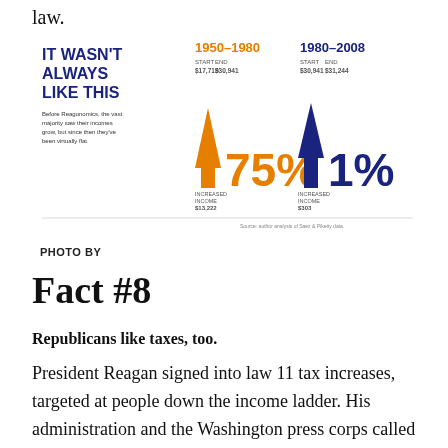law.
[Figure (infographic): Infographic titled 'IT WASN'T ALWAYS LIKE THIS'. Shows two periods: 1950-1980 (orange arrow up, Start $17,719 End $30,941, Increased Income $13,222, 75%) and 1980-2008 (blue arrow up, Start $30,941 End $31,244, Increased Income $303, 1%). Caption: Before Reagonomics, the vast majority saw their incomes grow, but since then they've been virtually flat. Source: author analysis of Saez & Piketty data.]
PHOTO BY
Fact #8
Republicans like taxes, too.
President Reagan signed into law 11 tax increases, targeted at people down the income ladder. His administration and the Washington press corps called the